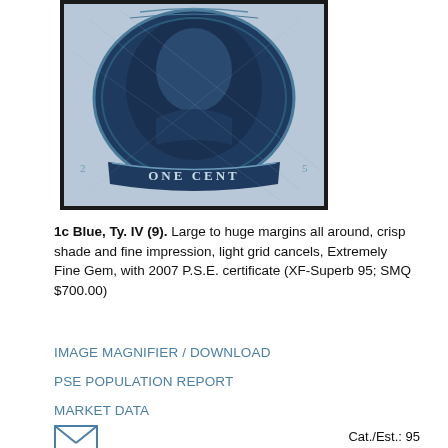[Figure (photo): Close-up photograph of a 1 cent blue US postage stamp (Type IV, Scott #9) showing a portrait bust in an oval frame with 'ONE CENT' text at bottom, dark blue color with grid cancels, large margins visible]
1c Blue, Ty. IV (9). Large to huge margins all around, crisp shade and fine impression, light grid cancels, Extremely Fine Gem, with 2007 P.S.E. certificate (XF-Superb 95; SMQ $700.00)
IMAGE MAGNIFIER / DOWNLOAD
PSE POPULATION REPORT
MARKET DATA
[Figure (illustration): Small envelope icon (mail symbol)]
Cat./Est.: 95